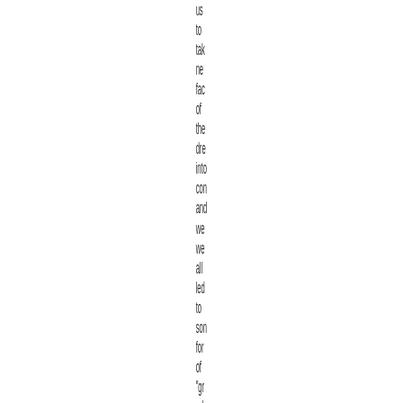us to tak ne fac of the dre into con and we we all led to son for of "gr reb enc us to sho